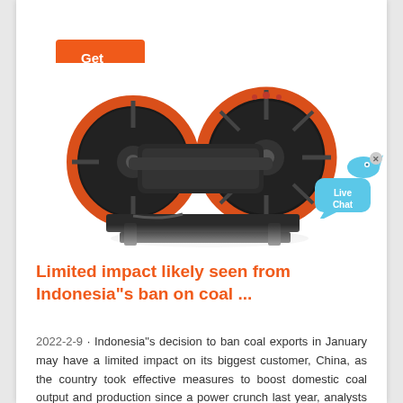Get Quote
[Figure (photo): Industrial jaw crusher machine with large red and black flywheels, viewed from the side, on a white background]
[Figure (illustration): Live Chat button with blue speech bubble and fish icon, with an X close button]
Limited impact likely seen from Indonesia"s ban on coal ...
2022-2-9 · Indonesia"s decision to ban coal exports in January may have a limited impact on its biggest customer, China, as the country took effective measures to boost domestic coal output and production since a power crunch last year, analysts said. Their